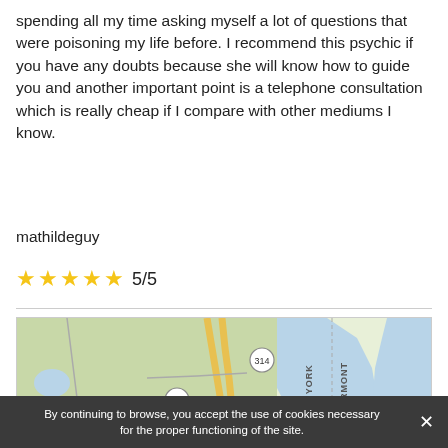spending all my time asking myself a lot of questions that were poisoning my life before. I recommend this psychic if you have any doubts because she will know how to guide you and another important point is a telephone consultation which is really cheap if I compare with other mediums I know.
mathildeguy
★★★★★ 5/5
[Figure (map): Google Maps view showing Plattsburgh area near the New York-Vermont border, with route numbers 314, 374, 190, 3 visible, and Lake Champlain separating New York and Vermont.]
By continuing to browse, you accept the use of cookies necessary for the proper functioning of the site.